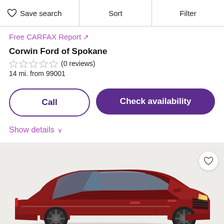Save search | Sort | Filter
Free CARFAX Report ↗
Corwin Ford of Spokane
☆☆☆☆☆ (0 reviews)
14 mi. from 99001
Call
Check availability
Show details ∨
[Figure (photo): Red sedan car (front three-quarter view) on a light gray/beige background]